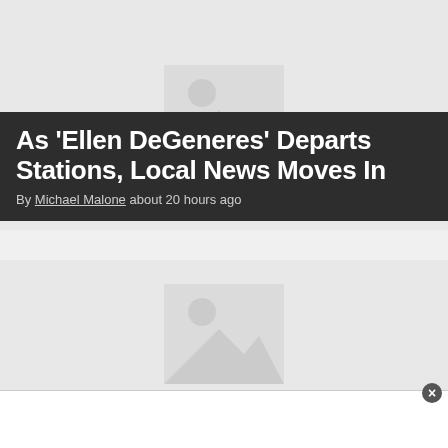[Figure (illustration): Gray image placeholder with mountain/landscape icon — top article image]
As ‘Ellen DeGeneres’ Departs Stations, Local News Moves In
By Michael Malone about 20 hours ago
[Figure (illustration): Gray image placeholder with mountain/landscape icon — second article image]
[Figure (illustration): White ad/overlay bar at bottom of page with close button]